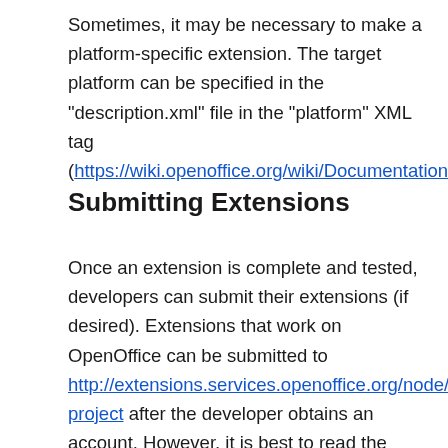Sometimes, it may be necessary to make a platform-specific extension. The target platform can be specified in the "description.xml" file in the "platform" XML tag (https://wiki.openoffice.org/wiki/Documentation/DevGuide/Extensions/Target_Platform).
Submitting Extensions
Once an extension is complete and tested, developers can submit their extensions (if desired). Extensions that work on OpenOffice can be submitted to http://extensions.services.openoffice.org/node/add/project-project after the developer obtains an account. However, it is best to read the submission instructions first - https://wiki.openoffice.org/wiki/Extensions/website/submission. The same instructions are useful prior to submitting LibreOffice extensions - http://extensions.libreoffice.org/@@hosting-your-